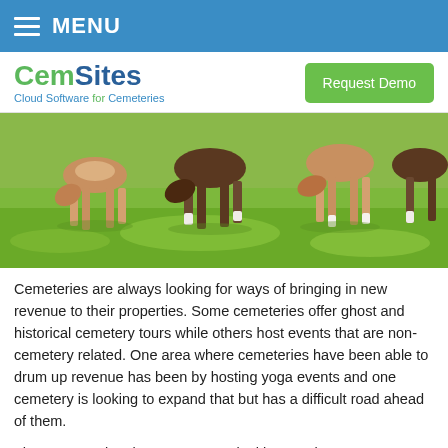MENU
[Figure (logo): CemSites logo with tagline 'Cloud Software for Cemeteries' and a green 'Request Demo' button]
[Figure (photo): Photo of goats grazing on green grass at a cemetery]
Cemeteries are always looking for ways of bringing in new revenue to their properties. Some cemeteries offer ghost and historical cemetery tours while others host events that are non-cemetery related. One area where cemeteries have been able to drum up revenue has been by hosting yoga events and one cemetery is looking to expand that but has a difficult road ahead of them.
The Congressional Cemetery was looking to take